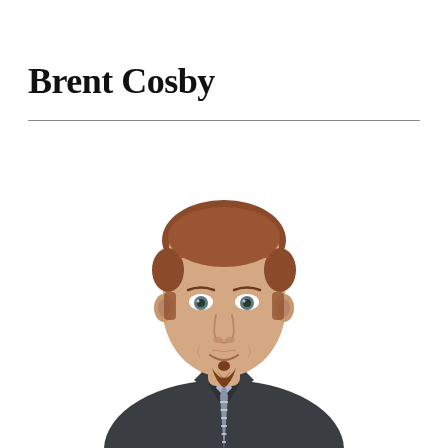Brent Cosby
[Figure (photo): Professional headshot of Brent Cosby, a man with short reddish-brown hair, a goatee/soul patch facial hair style, wearing a dark charcoal button-up shirt and a striped tie, photographed against a white background, smiling slightly, cropped at upper torso.]